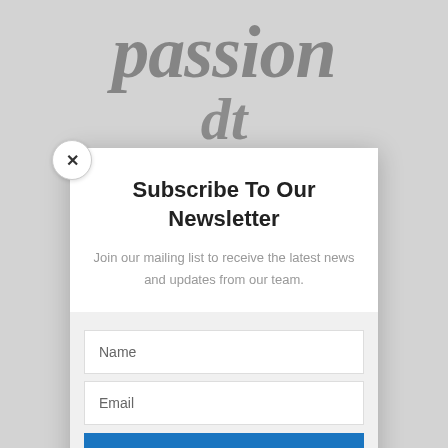[Figure (screenshot): Partially visible background page with large serif italic text 'passion' and partial second line visible behind a modal dialog overlay]
Subscribe To Our Newsletter
Join our mailing list to receive the latest news and updates from our team.
Name
Email
SUBSCRIBE